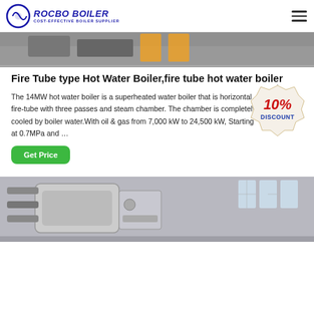ROCBO BOILER - COST-EFFECTIVE BOILER SUPPLIER
[Figure (photo): Industrial boiler machinery, top portion visible with cables and yellow equipment]
Fire Tube type Hot Water Boiler,fire tube hot water boiler
The 14MW hot water boiler is a superheated water boiler that is horizontal, fire-tube with three passes and steam chamber. The chamber is completely cooled by boiler water.With oil & gas from 7,000 kW to 24,500 kW, Starting at 0.7MPa and …
[Figure (infographic): 10% DISCOUNT badge/sticker overlay]
Get Price
[Figure (photo): Industrial boiler equipment in factory setting with windows in background]